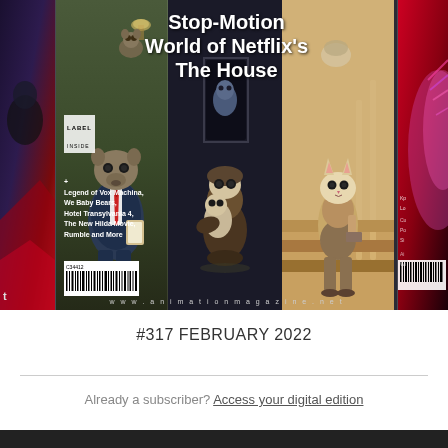[Figure (photo): Magazine cover carousel showing Animation Magazine issue #317 February 2022 featuring Stop-Motion World of Netflix's The House, with puppet characters from the film and partial covers of adjacent issues on left and right]
#317 FEBRUARY 2022
Already a subscriber? Access your digital edition